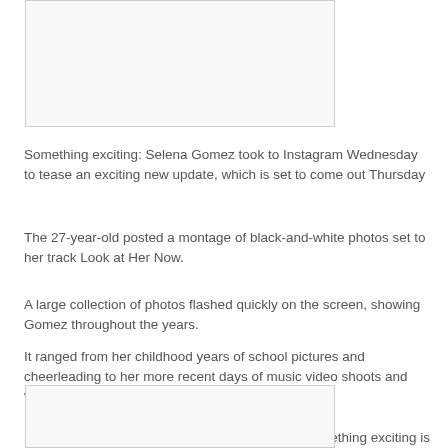[Figure (photo): Top image placeholder box]
Something exciting: Selena Gomez took to Instagram Wednesday to tease an exciting new update, which is set to come out Thursday
The 27-year-old posted a montage of black-and-white photos set to her track Look at Her Now.
A large collection of photos flashed quickly on the screen, showing Gomez throughout the years.
It ranged from her childhood years of school pictures and cheerleading to her more recent days of music video shoots and worldwide tours.
She captioned the nostalgic series of images: ‘Something exciting is coming tomorrow.’
[Figure (photo): Bottom image placeholder box]